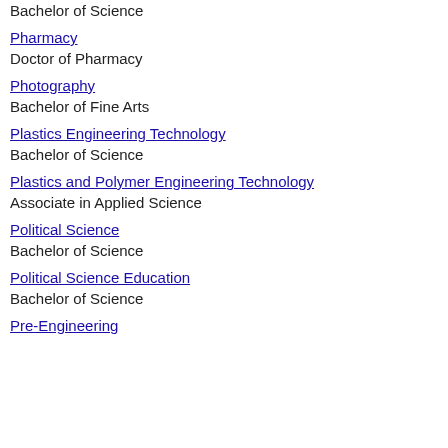Bachelor of Science
Pharmacy
Doctor of Pharmacy
Photography
Bachelor of Fine Arts
Plastics Engineering Technology
Bachelor of Science
Plastics and Polymer Engineering Technology
Associate in Applied Science
Political Science
Bachelor of Science
Political Science Education
Bachelor of Science
Pre-Engineering